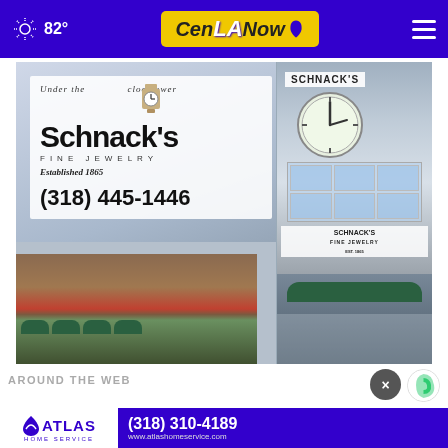82° CenLA Now
[Figure (photo): Schnack's Fine Jewelry advertisement showing clocktower building exterior with text: Under the clocktower, Schnack's Fine Jewelry, Established 1865, (318) 445-1446]
AROUND THE WEB
[Figure (logo): Atlas Home Service logo and contact: (318) 310-4189, www.atlashomeservice.com]